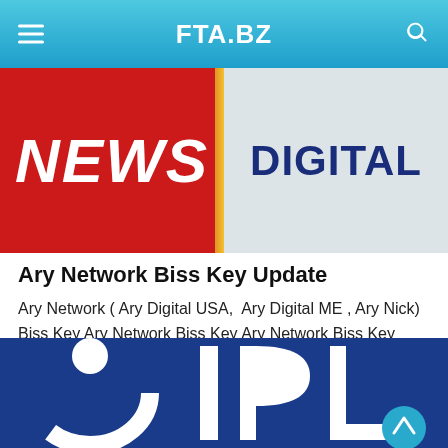FTA.BZ
[Figure (illustration): Banner image split: left half red background with white italic bold 'NEWS' text, right half light grey background with dark blue bold 'DIGITAL' text]
Ary Network Biss Key Update
Ary Network ( Ary Digital USA,  Ary Digital ME , Ary Nick) Biss Key Ary Network Biss Key Ary Network Biss Key Read too …
Written By Erica belinda  -  15:51  -
BISS KEY
[Figure (photo): Blue background image showing partial white cricket/IPL logo with large text letters 'I' 'P' 'L' partially visible]